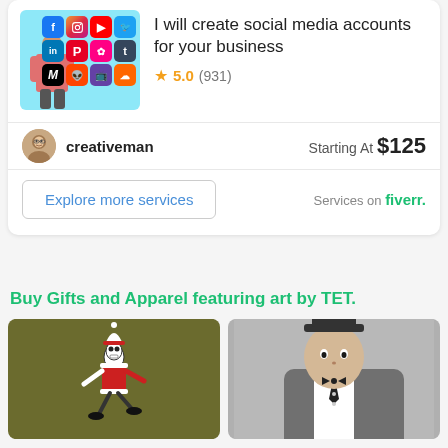I will create social media accounts for your business
5.0 (931)
creativeman
Starting At $125
Explore more services
Services on fiverr.
Buy Gifts and Apparel featuring art by TET.
[Figure (illustration): Skeleton character dressed as Santa Claus running, on olive/dark yellow background]
[Figure (illustration): Cartoon character in gray suit and top hat, partially visible on right side]